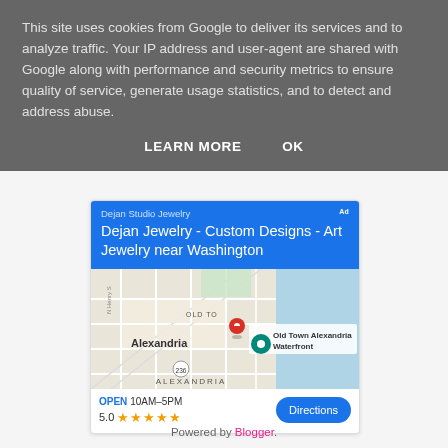This site uses cookies from Google to deliver its services and to analyze traffic. Your IP address and user-agent are shared with Google along with performance and security metrics to ensure quality of service, generate usage statistics, and to detect and address abuse.
LEARN MORE   OK
[Figure (screenshot): Google Maps ad card for Dejan Studio Jewelry showing 'Dejan Jewelry - Custom Designs - Art Jewelry near Washington', a map of Alexandria VA with a red location pin near Old Town Alexandria Waterfront, hours OPEN 10AM-5PM, rating 5.0 with 5 stars, and a Directions button.]
Powered by Blogger.